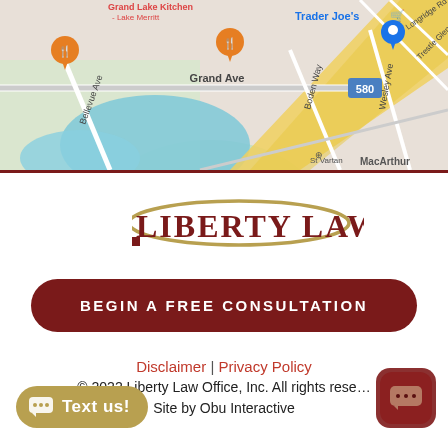[Figure (map): Google Maps screenshot showing Grand Lake area in Oakland, CA. Visible labels include Grand Lake Kitchen - Lake Merritt, Trader Joe's, Grand Ave, Bellevue Ave, Boden Way, Wesley Ave, MacArthur, Trestle Glen Rd, Longridge Rd, St Vartan, and highway 580. Orange restaurant pins and a blue Trader Joe's pin are visible. A lake (Lake Merritt) is shown in blue/teal.]
[Figure (logo): Liberty Law logo: large dark red serif 'L' with gold elliptical arc, text 'LIBERTY LAW' in dark red capital letters]
BEGIN A FREE CONSULTATION
Disclaimer | Privacy Policy
© 2022 Liberty Law Office, Inc. All rights reserved. Site by Obu Interactive
[Figure (other): Text us! chat button in gold/tan color with speech bubble icon]
[Figure (other): App icon: dark red rounded square with small chat/message logo]